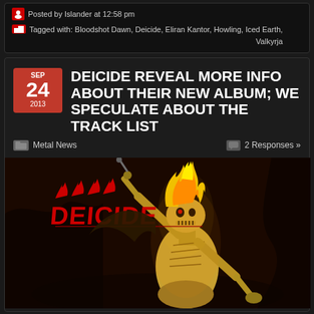Posted by Islander at 12:58 pm
Tagged with: Bloodshot Dawn, Deicide, Eliran Kantor, Howling, Iced Earth, Valkyrja
DEICIDE REVEAL MORE INFO ABOUT THEIR NEW ALBUM; WE SPECULATE ABOUT THE TRACK LIST
Metal News
2 Responses »
[Figure (illustration): Deicide album cover art showing a skeletal/demonic figure with a flaming head in yellow-orange tones, with the red Deicide logo in the top left corner]